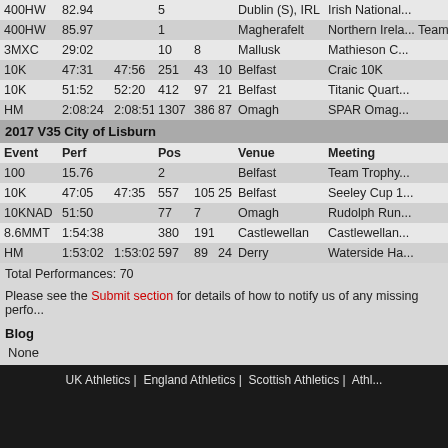| Event | Perf |  | Pos |  |  | Venue | Meeting |
| --- | --- | --- | --- | --- | --- | --- | --- |
| 400HW | 82.94 |  | 5 |  |  | Dublin (S), IRL | Irish National... |
| 400HW | 85.97 |  | 1 |  |  | Magherafelt | Northern Irela... Team Trophy... |
| 3MXC | 29:02 |  | 10 | 8 |  | Mallusk | Mathieson C... |
| 10K | 47:31 | 47:56 | 251 | 43 | 10 | Belfast | Craic 10K |
| 10K | 51:52 | 52:20 | 412 | 97 | 21 | Belfast | Titanic Quart... |
| HM | 2:08:24 | 2:08:51 | 1307 | 386 | 87 | Omagh | SPAR Omag... |
2017 V35 City of Lisburn
| Event | Perf |  | Pos |  |  | Venue | Meeting |
| --- | --- | --- | --- | --- | --- | --- | --- |
| 100 | 15.76 |  | 2 |  |  | Belfast | Team Trophy... |
| 10K | 47:05 | 47:35 | 557 | 105 | 25 | Belfast | Seeley Cup 1... |
| 10KNAD | 51:50 |  | 77 | 7 |  | Omagh | Rudolph Run... |
| 8.6MMT | 1:54:38 |  | 380 | 191 |  | Castlewellan | Castlewellan... |
| HM | 1:53:02 | 1:53:02 | 597 | 89 | 24 | Derry | Waterside Ha... |
Total Performances: 70
Please see the Submit section for details of how to notify us of any missing perfo...
Blog
None